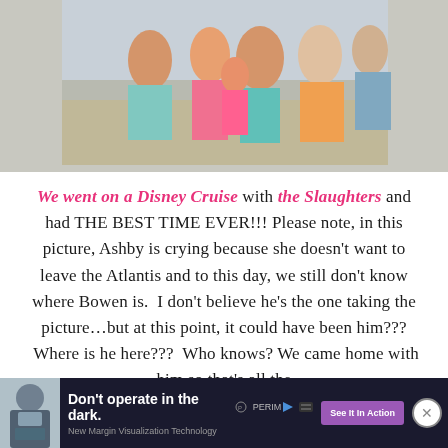[Figure (photo): Group photo of children and adults at what appears to be Atlantis resort, cropped at top showing people in colorful summer clothes including pink and teal striped outfits]
We went on a Disney Cruise with the Slaughters and had THE BEST TIME EVER!!! Please note, in this picture, Ashby is crying because she doesn't want to leave the Atlantis and to this day, we still don't know where Bowen is. I don't believe he's the one taking the picture...but at this point, it could have been him??? Where is he here??? Who knows? We came home with him so that's all the
[Figure (photo): Advertisement banner: Don't operate in the dark. New Margin Visualization Technology. Perim. See It In Action button. Shows doctor in surgical mask.]